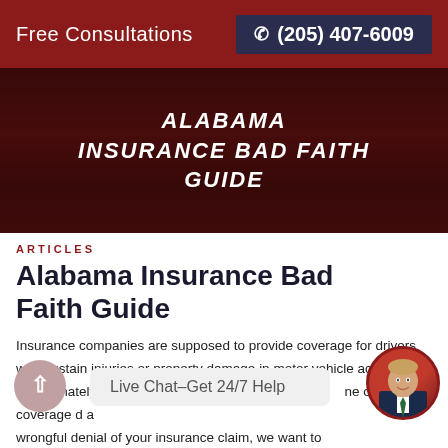Free Consultations  ☎ (205) 407-6009
[Figure (illustration): Dark dramatic background image with text overlay reading ALABAMA INSURANCE BAD FAITH GUIDE in white bold italic uppercase letters]
ARTICLES
Alabama Insurance Bad Faith Guide
Insurance companies are supposed to provide coverage for drivers who sustain injuries or property damage in motor vehicle accidents. Unfortunately, however, insure[rs sometimes deny their own coverage] and a wrongful denial of your insurance claim, we want to